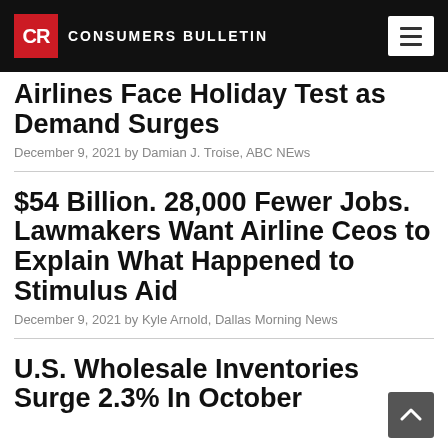CR CONSUMERS BULLETIN
Airlines Face Holiday Test as Demand Surges
December 9, 2021 by Damian J. Troise, ABC NEws
$54 Billion. 28,000 Fewer Jobs. Lawmakers Want Airline Ceos to Explain What Happened to Stimulus Aid
December 9, 2021 by Kyle Arnold, Dallas Morning News
U.S. Wholesale Inventories Surge 2.3% In October